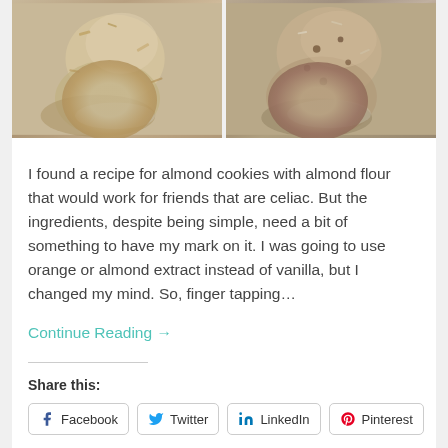[Figure (photo): Two side-by-side photos of almond cookies stacked in a glass jar on a granite countertop]
I found a recipe for almond cookies with almond flour that would work for friends that are celiac. But the ingredients, despite being simple, need a bit of something to have my mark on it. I was going to use orange or almond extract instead of vanilla, but I changed my mind. So, finger tapping...
Continue Reading →
Share this:
Facebook  Twitter  LinkedIn  Pinterest
Loading...